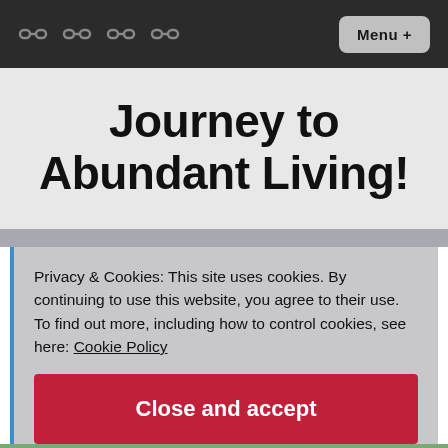Navigation bar with link icons and Menu + button
Journey to Abundant Living!
Privacy & Cookies: This site uses cookies. By continuing to use this website, you agree to their use. To find out more, including how to control cookies, see here: Cookie Policy
Close and accept
[Figure (photo): Partial photo of outdoor scene with trees visible at bottom of page]